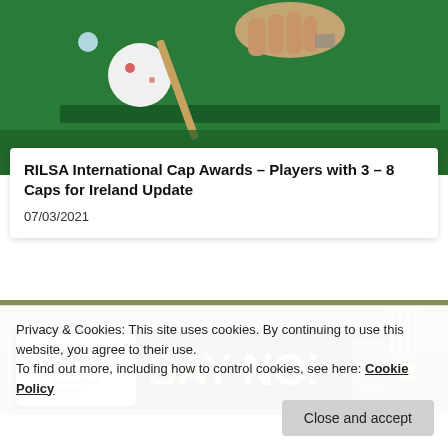[Figure (photo): Snooker player's hand holding a cue on a green baize table with a white cue ball visible]
RILSA International Cap Awards – Players with 3 – 8 Caps for Ireland Update
07/03/2021
[Figure (photo): Snooker hall with multiple green baize tables visible]
[Figure (logo): World Anti-Doping Agency logo with SAY NO! text]
Privacy & Cookies: This site uses cookies. By continuing to use this website, you agree to their use.
To find out more, including how to control cookies, see here: Cookie Policy
Close and accept